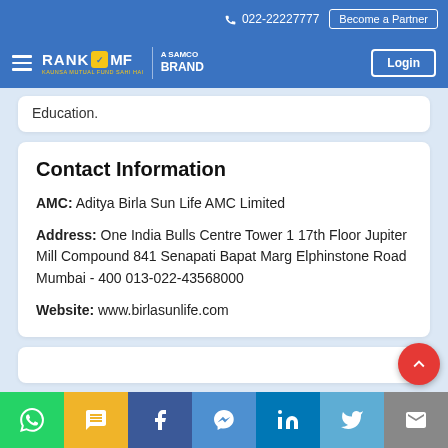022-22227777  Become a Partner
RANK MF A SAMCO BRAND | Login
Education.
Contact Information
AMC: Aditya Birla Sun Life AMC Limited
Address: One India Bulls Centre Tower 1 17th Floor Jupiter Mill Compound 841 Senapati Bapat Marg Elphinstone Road Mumbai - 400 013-022-43568000
Website: www.birlasunlife.com